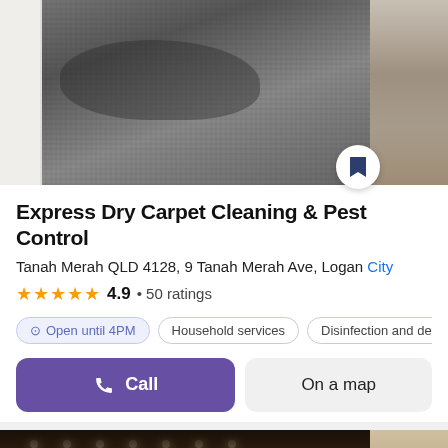[Figure (photo): Top image showing dark grey carpet with stain, and a side image of what appears to be a room interior]
Express Dry Carpet Cleaning & Pest Control
Tanah Merah QLD 4128, 9 Tanah Merah Ave, Logan City
4.9 • 50 ratings
Open until 4PM  Household services  Disinfection and deratization
Call  On a map
[Figure (photo): Bottom image showing an interior room with exposed ceiling beams/rafter, lights, windows with garden view, and wooden furniture]